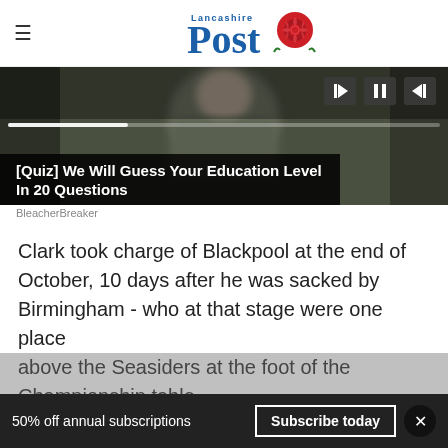Lancashire Post
[Figure (screenshot): Video player with dark background showing a blurred figure, media controls (skip back, pause, skip forward), progress bar, and an overlay ad reading '[Quiz] We Will Guess Your Education Level In 20 Questions' by BleacherBreaker]
Clark took charge of Blackpool at the end of October, 10 days after he was sacked by Birmingham - who at that stage were one place above the Seasiders at the foot of the Championship table.
50% off annual subscriptions
Subscribe today